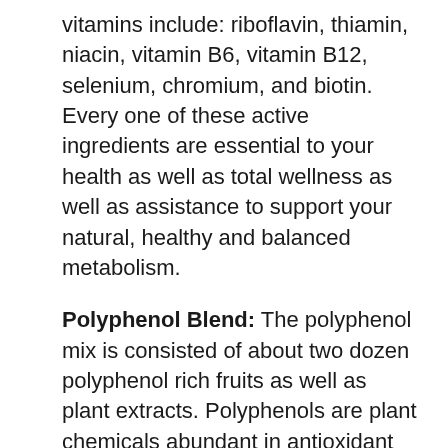vitamins include: riboflavin, thiamin, niacin, vitamin B6, vitamin B12, selenium, chromium, and biotin. Every one of these active ingredients are essential to your health as well as total wellness as well as assistance to support your natural, healthy and balanced metabolism.
Polyphenol Blend: The polyphenol mix is consisted of about two dozen polyphenol rich fruits as well as plant extracts. Polyphenols are plant chemicals abundant in antioxidant and also anti-inflammatory substances that help sustain your metabolic feature and general wellness. Several of the polyphenols located in the Okinawa Flat Belly Tonic include: cherry, pineapple remove, orange, watermelon, hibiscus, blackberry,